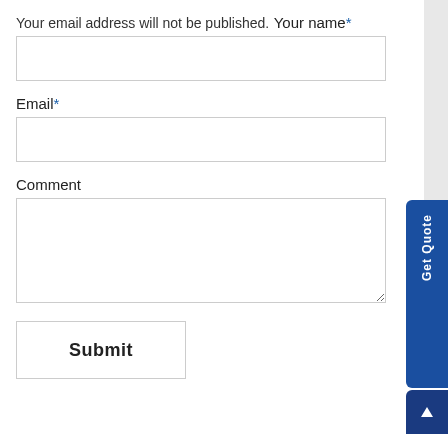Your email address will not be published.
Your name*
Email*
Comment
Submit